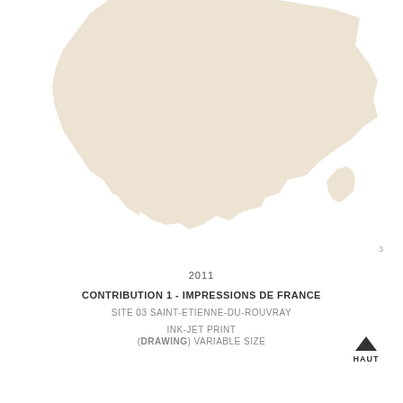[Figure (map): Outline/silhouette map of southern France including Corsica island, filled with a light beige/cream color on white background. Only the southern portion of France is visible, cropped at the top.]
3
2011
CONTRIBUTION 1 - IMPRESSIONS DE FRANCE
SITE 03 SAINT-ETIENNE-DU-ROUVRAY
INK-JET PRINT
(DRAWING) VARIABLE SIZE
[Figure (illustration): A small upward-pointing chevron/arrow icon above the word HAUT (meaning UP/TOP in French), indicating a navigation button.]